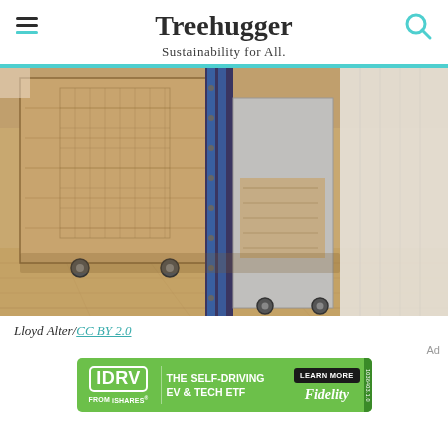Treehugger — Sustainability for All.
[Figure (photo): Close-up photograph of wooden crates/boxes on casters/wheels on a light hardwood floor, with white curtain visible in background. The crates appear to be shipping or display cases.]
Lloyd Alter/CC BY 2.0
[Figure (other): Advertisement banner: IDRV FROM iSHARES — THE SELF-DRIVING EV & TECH ETF — LEARN MORE — Fidelity]